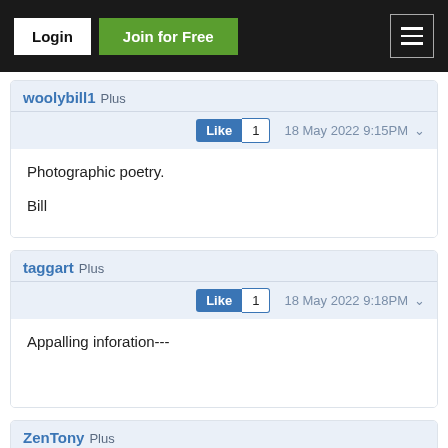Login | Join for Free
woolybill1 Plus
Like 1  18 May 2022 9:15PM
Photographic poetry.

Bill
taggart Plus
Like 1  18 May 2022 9:18PM
Appalling inforation---
ZenTony Plus